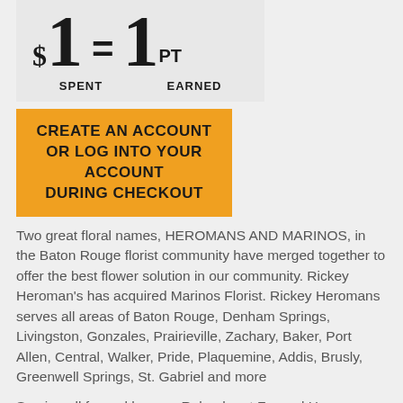[Figure (infographic): Loyalty points infographic showing $1 spent equals 1 point earned, with a large bold equation style layout]
CREATE AN ACCOUNT OR LOG INTO YOUR ACCOUNT DURING CHECKOUT
Two great floral names, HEROMANS AND MARINOS, in the Baton Rouge florist community have merged together to offer the best flower solution in our community. Rickey Heroman's has acquired Marinos Florist. Rickey Heromans serves all areas of Baton Rouge, Denham Springs, Livingston, Gonzales, Prairieville, Zachary, Baker, Port Allen, Central, Walker, Pride, Plaquemine, Addis, Brusly, Greenwell Springs, St. Gabriel and more
Serving all funeral homes, Rabenhorst Funeral Homes, Greenoaks, Resthaven Garden of Memories, Seale Funeral Home, Carney Mackey, Ourso Funeral Home, Charlet Funeral Home, Winnfield Funeral Home, Desselles, Wilberts Funeral Home, MJR Friendly.